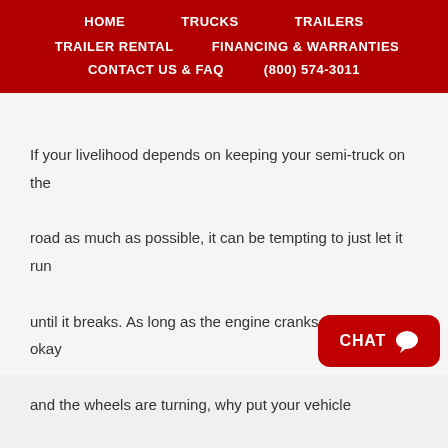HOME  TRUCKS  TRAILERS  TRAILER RENTAL  FINANCING & WARRANTIES  CONTACT US & FAQ  (800) 574-3011
If your livelihood depends on keeping your semi-truck on the road as much as possible, it can be tempting to just let it run until it breaks. As long as the engine cranks, the tires look okay and the wheels are turning, why put your vehicle where it isn't making you any money? But the time and